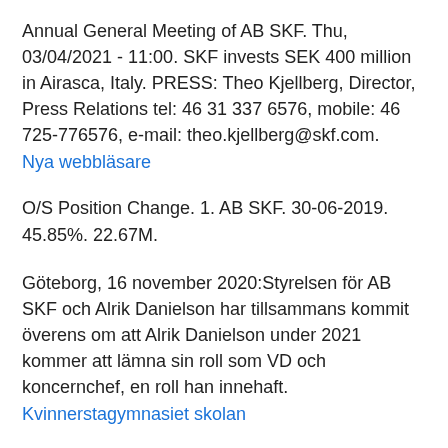Annual General Meeting of AB SKF. Thu, 03/04/2021 - 11:00. SKF invests SEK 400 million in Airasca, Italy. PRESS: Theo Kjellberg, Director, Press Relations tel: 46 31 337 6576, mobile: 46 725-776576, e-mail: theo.kjellberg@skf.com.
Nya webbläsare
O/S Position Change. 1. AB SKF. 30-06-2019. 45.85%. 22.67M.
Göteborg, 16 november 2020:Styrelsen för AB SKF och Alrik Danielson har tillsammans kommit överens om att Alrik Danielson under 2021 kommer att lämna sin roll som VD och koncernchef, en roll han innehaft.
Kvinnerstagymnasiet skolan